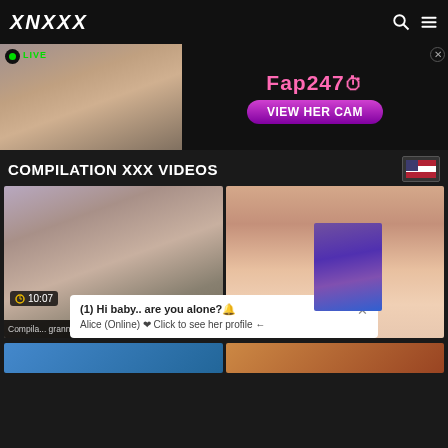XNXXX
[Figure (screenshot): Advertisement banner for Fap247 website featuring a woman on left side with LIVE badge and VIEW HER CAM button on black background]
COMPILATION XXX VIDEOS
[Figure (screenshot): Video thumbnail showing woman with glasses, duration 10:07]
[Figure (screenshot): Video thumbnail close-up, duration 6:51]
(1) Hi baby.. are you alone?
Alice (Online) ❤ Click to see her profile ←
[Figure (photo): Bottom strip thumbnails - partial video thumbnails at bottom of page]